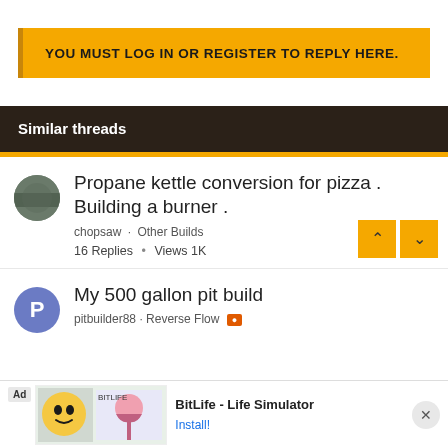YOU MUST LOG IN OR REGISTER TO REPLY HERE.
Similar threads
Propane kettle conversion for pizza . Building a burner . chopsaw · Other Builds 16 Replies • Views 1K
My 500 gallon pit build pitbuilder88 · Reverse Flow
[Figure (screenshot): Ad banner for BitLife - Life Simulator app with emoji graphic, Ad label, and Install button]